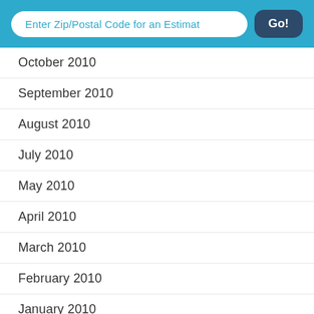Enter Zip/Postal Code for an Estimat  Go!
October 2010
September 2010
August 2010
July 2010
May 2010
April 2010
March 2010
February 2010
January 2010
December 2009
November 2009
October 2009
September 2009
August 2009